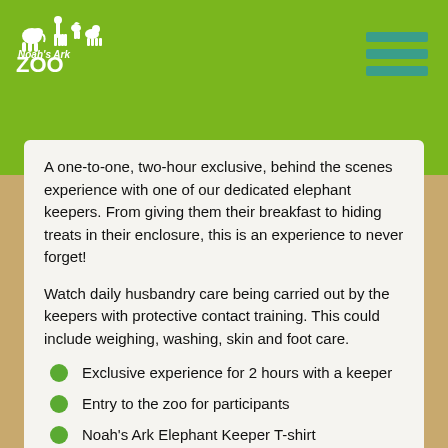[Figure (logo): Noah's Ark Zoo Farm logo with animal silhouettes on green background]
A one-to-one, two-hour exclusive, behind the scenes experience with one of our dedicated elephant keepers. From giving them their breakfast to hiding treats in their enclosure, this is an experience to never forget!
Watch daily husbandry care being carried out by the keepers with protective contact training. This could include weighing, washing, skin and foot care.
Exclusive experience for 2 hours with a keeper
Entry to the zoo for participants
Noah's Ark Elephant Keeper T-shirt